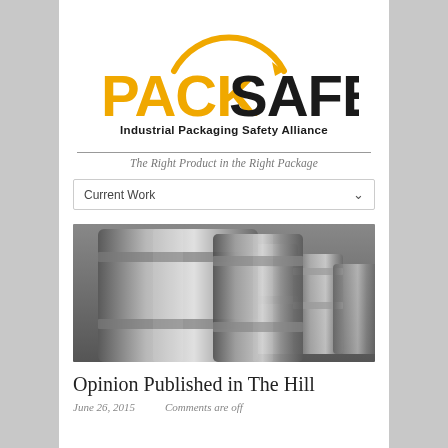[Figure (logo): PackSafe logo with orange/yellow PACK text, black SAFE text, and an orange arc arrow above, with 'Industrial Packaging Safety Alliance' subtitle]
The Right Product in the Right Package
Current Work
[Figure (photo): Row of stainless steel industrial drums/barrels viewed at an angle]
Opinion Published in The Hill
June 26, 2015  Comments are off